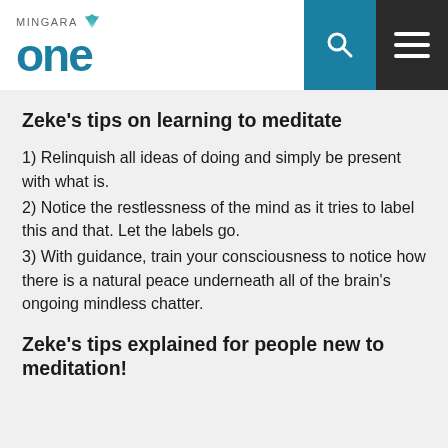Mingara One
Zeke's tips on learning to meditate
1) Relinquish all ideas of doing and simply be present with what is.
2) Notice the restlessness of the mind as it tries to label this and that. Let the labels go.
3) With guidance, train your consciousness to notice how there is a natural peace underneath all of the brain's ongoing mindless chatter.
Zeke's tips explained for people new to meditation!